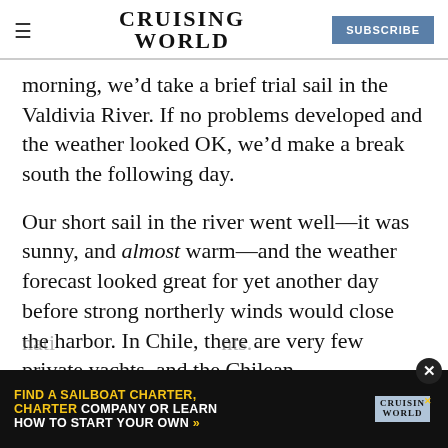CRUISING WORLD — SUBSCRIBE
morning, we'd take a brief trial sail in the Valdivia River. If no problems developed and the weather looked OK, we'd make a break south the following day.
Our short sail in the river went well—it was sunny, and almost warm—and the weather forecast looked great for yet another day before strong northerly winds would close the harbor. In Chile, there are very few private yachts, and the Chilean nati...nts. You must obtain permission to move from
[Figure (infographic): Advertisement banner: FIND A SAILBOAT CHARTER, CHARTER COMPANY OR LEARN HOW TO START YOUR OWN with Cruising World logo and close button]